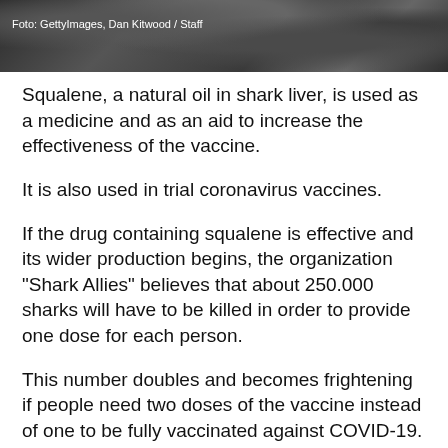[Figure (photo): Dark aerial or close-up photo, possibly of water or rocks, with caption overlay]
Foto: GettyImages, Dan Kitwood / Staff
Squalene, a natural oil in shark liver, is used as a medicine and as an aid to increase the effectiveness of the vaccine.
It is also used in trial coronavirus vaccines.
If the drug containing squalene is effective and its wider production begins, the organization "Shark Allies" believes that about 250.000 sharks will have to be killed in order to provide one dose for each person.
This number doubles and becomes frightening if people need two doses of the vaccine instead of one to be fully vaccinated against COVID-19.
Stephanie Brandl, founder and CEO of the organization "Shark Allies", said that harvesting something from a wild animal will never be sustainable, especially if it is a